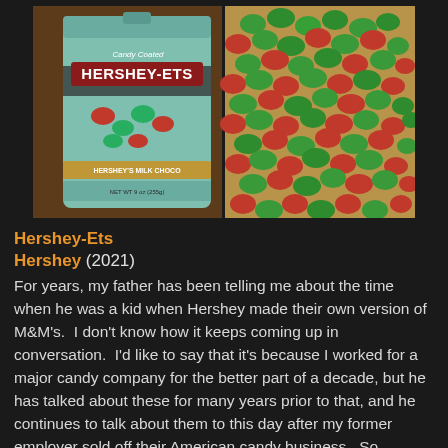[Figure (photo): Two-panel photo: left panel shows a teal/mint colored bag of Hershey-Ets candy-coated chocolates with Hershey branding; right panel shows a pile of red and green candy-coated Hershey-Ets chocolates spread on a surface.]
Hershey-Ets
Hershey (2021)
For years, my father has been telling me about the time when he was a kid when Hershey made their own version of M&M's.  I don't know how it keeps coming up in conversation.  I'd like to say that it's because I worked for a major candy company for the better part of a decade, but he has talked about these for many years prior to that, and he continues to talk about them to this day after my former employer sold off their American candy business.  So, imagine my surprise to find a big bag of Hershey-Ets at Ollies, in retro styled packaging no less!  I had to pick them